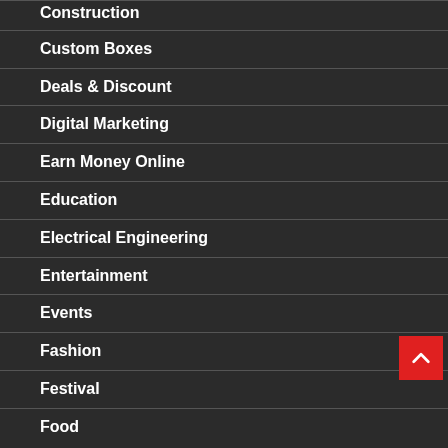Construction
Custom Boxes
Deals & Discount
Digital Marketing
Earn Money Online
Education
Electrical Engineering
Entertainment
Events
Fashion
Festival
Food